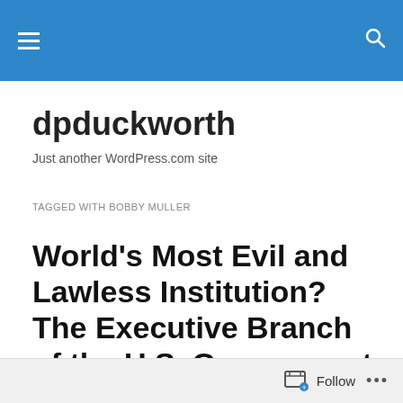dpduckworth — site header with menu and search icons
dpduckworth
Just another WordPress.com site
TAGGED WITH BOBBY MULLER
World's Most Evil and Lawless Institution? The Executive Branch of the U.S. Government, by Fred Branfman
Follow •••